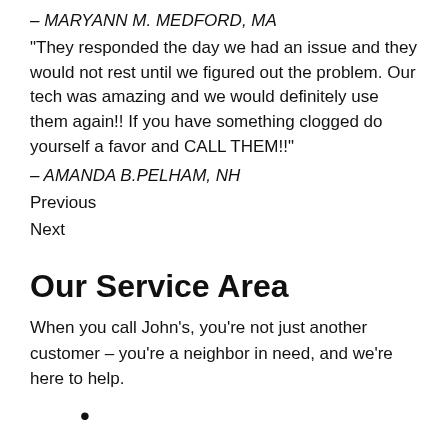– MARYANN M. MEDFORD, MA
“They responded the day we had an issue and they would not rest until we figured out the problem. Our tech was amazing and we would definitely use them again!! If you have something clogged do yourself a favor and CALL THEM!!”
– AMANDA B.PELHAM, NH
Previous
Next
Our Service Area
When you call John’s, you’re not just another customer – you’re a neighbor in need, and we’re here to help.